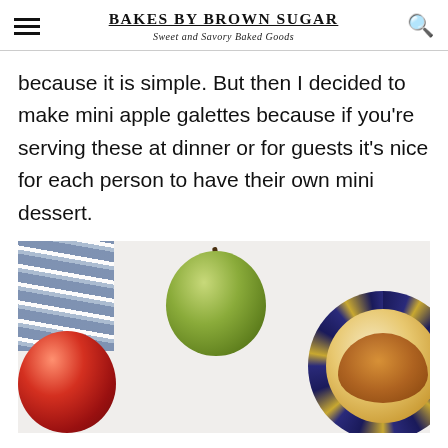BAKES BY BROWN SUGAR — Sweet and Savory Baked Goods
because it is simple. But then I decided to make mini apple galettes because if you're serving these at dinner or for guests it's nice for each person to have their own mini dessert.
[Figure (photo): Overhead view of apples and a decorative plate on a marble surface. A green apple is in the center top, a red apple is in the lower left, a blue striped cloth/napkin is in the upper left, and an ornate navy and gold plate with an apple galette is on the right.]